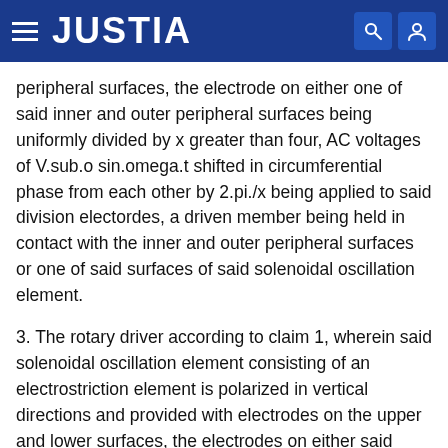JUSTIA
peripheral surfaces, the electrode on either one of said inner and outer peripheral surfaces being uniformly divided by x greater than four, AC voltages of V.sub.o sin.omega.t shifted in circumferential phase from each other by 2.pi./x being applied to said division electordes, a driven member being held in contact with the inner and outer peripheral surfaces or one of said surfaces of said solenoidal oscillation element.
3. The rotary driver according to claim 1, wherein said solenoidal oscillation element consisting of an electrostriction element is polarized in vertical directions and provided with electrodes on the upper and lower surfaces, the electrodes on either said upper or lower surface being uniformly divided by x greater than four, AC voltages of V.sub.o sin.omega.t shifted in circumferential phase from each other being applied to